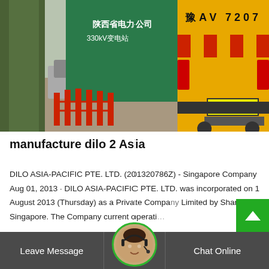[Figure (photo): Street scene with a yellow truck bearing plate 'V7207' and Chinese character '豫AV 7207' on the side, parked near a green wall with Chinese text '陕西省电力公司 330kV变电站', trees and a car visible on the left, barriers/fences in the foreground, and a person in blue walking in the background.]
manufacture dilo 2 Asia
DILO ASIA-PACIFIC PTE. LTD. (201320786Z) - Singapore Company Aug 01, 2013 · DILO ASIA-PACIFIC PTE. LTD. was incorporated on 1 August 2013 (Thursday) as a Private Company Limited by Shares in Singapore. The Company current operati
Leave Message  Chat Online